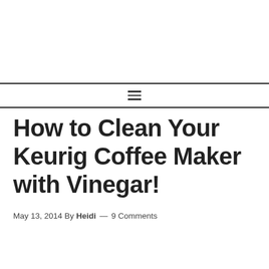☰
How to Clean Your Keurig Coffee Maker with Vinegar!
May 13, 2014 By Heidi — 9 Comments